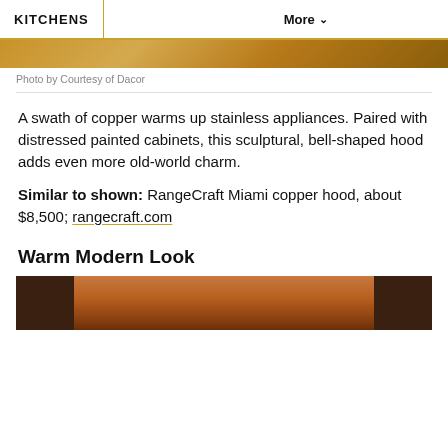KITCHENS   More ∨
[Figure (photo): Top portion of a kitchen photo showing copper/warm tones]
Photo by Courtesy of Dacor
A swath of copper warms up stainless appliances. Paired with distressed painted cabinets, this sculptural, bell-shaped hood adds even more old-world charm.
Similar to shown: RangeCraft Miami copper hood, about $8,500; rangecraft.com
Warm Modern Look
[Figure (photo): Bottom photo showing warm wood-toned kitchen cabinetry]